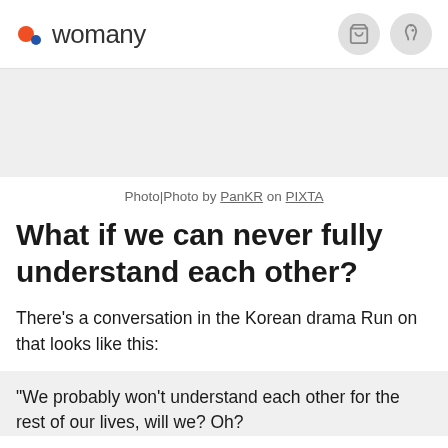womany
Photo|Photo by PanKR on PIXTA
What if we can never fully understand each other?
There's a conversation in the Korean drama Run on that looks like this:
"We probably won't understand each other for the rest of our lives, will we? Oh?